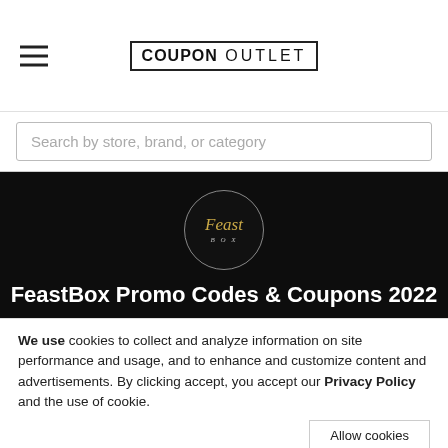COUPON OUTLET
Search by store, brand, or category
[Figure (logo): FeastBox circular logo with gold script text 'Feast' and 'BOX' on dark background]
FeastBox Promo Codes & Coupons 2022
FeastBox FAQs | Shop At FeastBox
All Coupons 10  Top Rated  Deals  Coupon Code  Free Shipping
We use cookies to collect and analyze information on site performance and usage, and to enhance and customize content and advertisements. By clicking accept, you accept our Privacy Policy and the use of cookie.
Allow cookies
New customer discount 99% off of recipes in
Sale  your first 3 Feast Box...